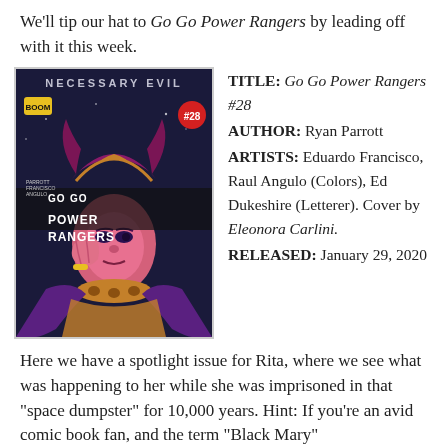We'll tip our hat to Go Go Power Rangers by leading off with it this week.
[Figure (illustration): Comic book cover for Go Go Power Rangers #28 - Necessary Evil arc, BOOM! Studios. Shows a stylized female character (Rita Repulsa) with elaborate headdress, pink/red and purple color scheme. Title text reads 'NECESSARY EVIL' at top and 'GO GO POWER RANGERS' in large yellow/white letters.]
TITLE: Go Go Power Rangers #28
AUTHOR: Ryan Parrott
ARTISTS: Eduardo Francisco, Raul Angulo (Colors), Ed Dukeshire (Letterer). Cover by Eleonora Carlini.
RELEASED: January 29, 2020
Here we have a spotlight issue for Rita, where we see what was happening to her while she was imprisoned in that “space dumpster” for 10,000 years. Hint: If you’re an avid comic book fan, and the term “Black Mary”